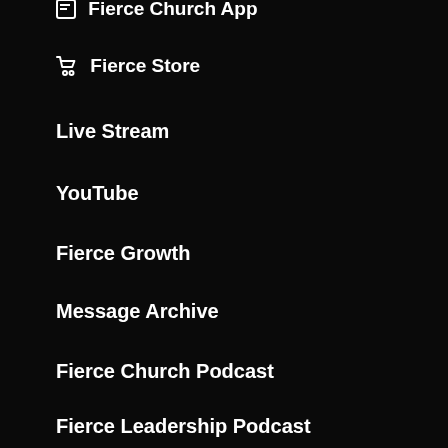Fierce Church App
Fierce Store
Live Stream
YouTube
Fierce Growth
Message Archive
Fierce Church Podcast
Fierce Leadership Podcast
[Figure (other): Social media icons row: Facebook (blue), Instagram (pink/red gradient), YouTube (red), Vimeo (light blue)]